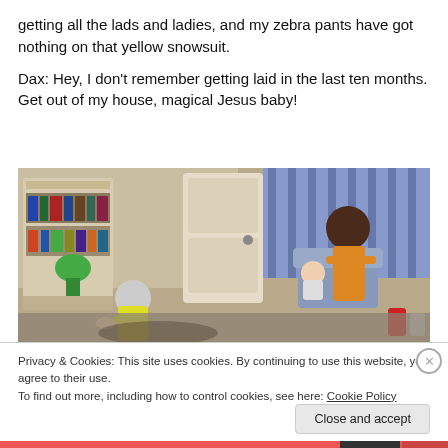getting all the lads and ladies, and my zebra pants have got nothing on that yellow snowsuit.
Dax: Hey, I don't remember getting laid in the last ten months. Get out of my house, magical Jesus baby!
[Figure (screenshot): Screenshot from The Sims game showing two characters in a room with a bookshelf and door. One character in a yellow outfit bends down, the other standing character holds a baby.]
Privacy & Cookies: This site uses cookies. By continuing to use this website, you agree to their use.
To find out more, including how to control cookies, see here: Cookie Policy
Close and accept